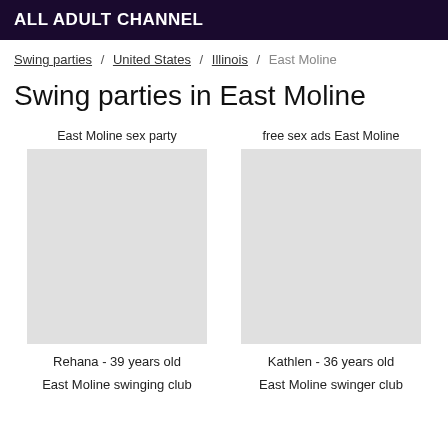ALL ADULT CHANNEL
Swing parties / United States / Illinois / East Moline
Swing parties in East Moline
East Moline sex party
free sex ads East Moline
[Figure (photo): Profile photo placeholder left]
[Figure (photo): Profile photo placeholder right]
Rehana - 39 years old
Kathlen - 36 years old
East Moline swinging club
East Moline swinger club